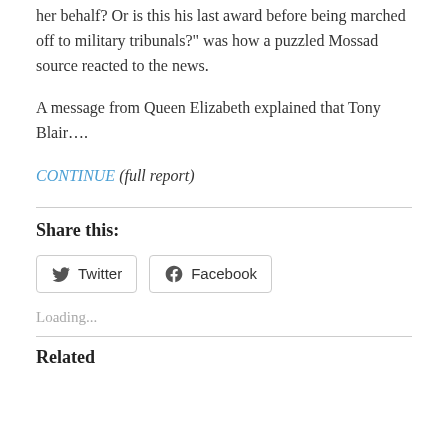her behalf? Or is this his last award before being marched off to military tribunals?" was how a puzzled Mossad source reacted to the news.
A message from Queen Elizabeth explained that Tony Blair….
CONTINUE (full report)
Share this:
Twitter  Facebook
Loading...
Related